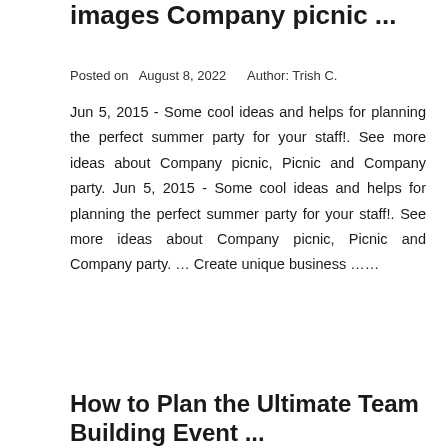images Company picnic ...
Posted on  August 8, 2022     Author: Trish C.
Jun 5, 2015 - Some cool ideas and helps for planning the perfect summer party for your staff!. See more ideas about Company picnic, Picnic and Company party. Jun 5, 2015 - Some cool ideas and helps for planning the perfect summer party for your staff!. See more ideas about Company picnic, Picnic and Company party. … Create unique business ……
How to Plan the Ultimate Team Building Event ...